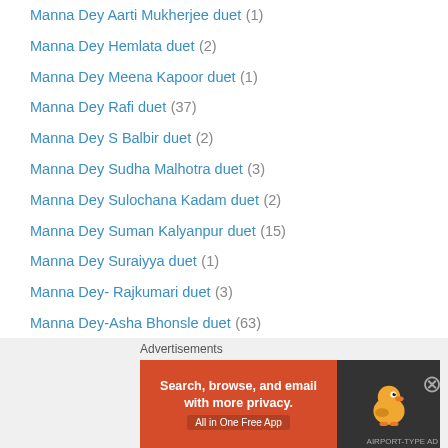Manna Dey Aarti Mukherjee duet (1)
Manna Dey Hemlata duet (2)
Manna Dey Meena Kapoor duet (1)
Manna Dey Rafi duet (37)
Manna Dey S Balbir duet (2)
Manna Dey Sudha Malhotra duet (3)
Manna Dey Sulochana Kadam duet (2)
Manna Dey Suman Kalyanpur duet (15)
Manna Dey Suraiyya duet (1)
Manna Dey- Rajkumari duet (3)
Manna Dey-Asha Bhonsle duet (63)
Manna Dey-Chandrani Mukherjee (1)
Manna Dey-Geeta Dutt duet (18)
Manna Dey-Krishna Kalle duet (2)
Manna Dey-Lata duet (75)
Manna Dey-Mukesh duet (1)
Meena Kapoor Mahendra Kapoor duet (1)
Advertisements
[Figure (screenshot): DuckDuckGo advertisement banner: orange section with text 'Search, browse, and email with more privacy. All in One Free App' and dark section with DuckDuckGo duck logo]